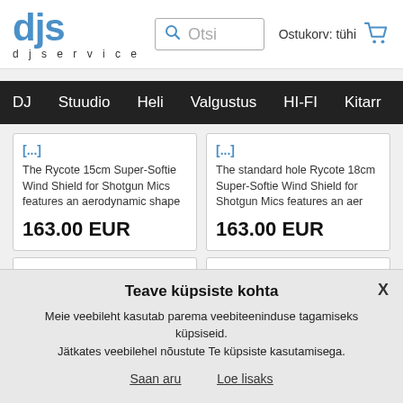[Figure (logo): DJS djservice logo — 'djs' in large blue bold text with 'djservice' in spaced letters below]
[Figure (screenshot): Search bar with magnifying glass icon and placeholder text 'Otsi']
Ostukorv: tühi
DJ  Stuudio  Heli  Valgustus  HI-FI  Kitarr
The Rycote 15cm Super-Softie Wind Shield for Shotgun Mics features an aerodynamic shape
163.00 EUR
The standard hole Rycote 18cm Super-Softie Wind Shield for Shotgun Mics features an aer
163.00 EUR
Rycote
Rycote
Teave küpsiste kohta
Meie veebileht kasutab parema veebiteeninduse tagamiseks küpsiseid. Jätkates veebilehel nõustute Te küpsiste kasutamisega.
Saan aru
Loe lisaks